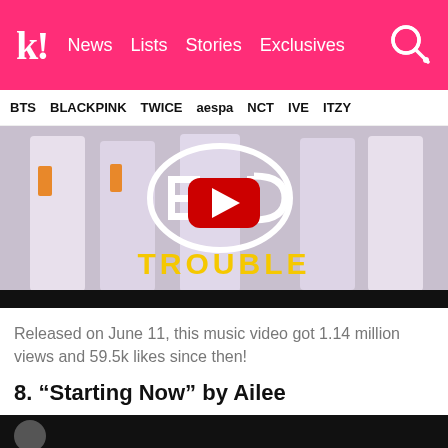k! News Lists Stories Exclusives
BTS BLACKPINK TWICE aespa NCT IVE ITZY
[Figure (screenshot): Music video thumbnail for EXID 'TROUBLE' showing group members in white outfits with yellow TROUBLE text and a YouTube play button overlay]
Released on June 11, this music video got 1.14 million views and 59.5k likes since then!
8. “Starting Now” by Ailee
[Figure (screenshot): Bottom portion of next video thumbnail, dark background with partial circular element visible]